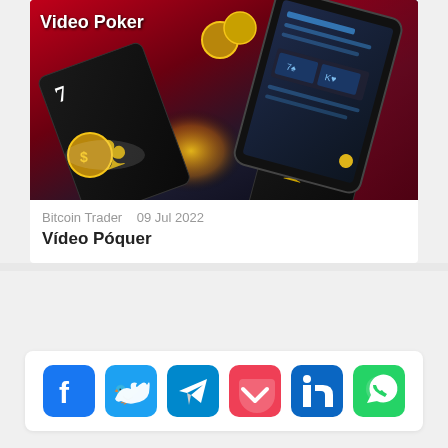[Figure (photo): Video Poker promotional image with playing cards showing 7 of clubs and gold coin chips on a red background with a smartphone displaying a poker interface]
Bitcoin Trader   09 Jul 2022
Vídeo Póquer
[Figure (infographic): Social media sharing buttons: Facebook, Twitter, Telegram, Pocket, LinkedIn, WhatsApp]